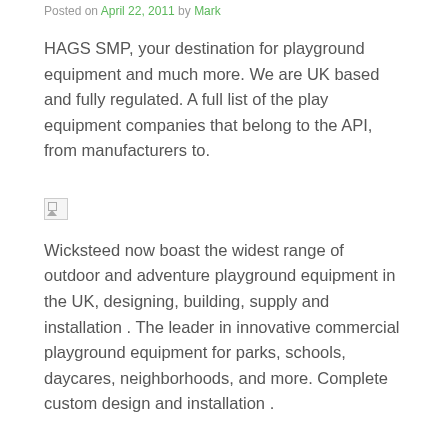Posted on April 22, 2011 by Mark
HAGS SMP, your destination for playground equipment and much more. We are UK based and fully regulated. A full list of the play equipment companies that belong to the API, from manufacturers to.
[Figure (photo): Broken/missing image placeholder (small icon with border)]
Wicksteed now boast the widest range of outdoor and adventure playground equipment in the UK, designing, building, supply and installation . The leader in innovative commercial playground equipment for parks, schools, daycares, neighborhoods, and more. Complete custom design and installation .